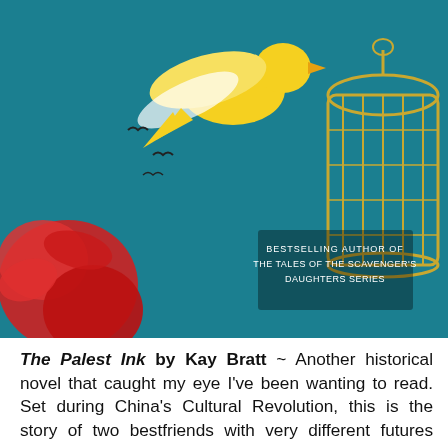[Figure (illustration): Book cover of 'The Palest Ink' by Kay Bratt showing a yellow bird flying above a decorative birdcage against a teal background with red flowers. Text reads 'Bestselling Author of The Tales of the Scavenger's Daughters Series'.]
The Palest Ink by Kay Bratt ~ Another historical novel that caught my eye I've been wanting to read. Set during China's Cultural Revolution, this is the story of two bestfriends with very different futures ahead of them. They must make difficult decisions that impact their families, friendship, and loyalty to their country.
5.
[Figure (illustration): Book cover showing a silhouette of a person standing against a blue sky and water background with text 'Deftly blends sentiment and noir... a complex mystery' -People at the top.]